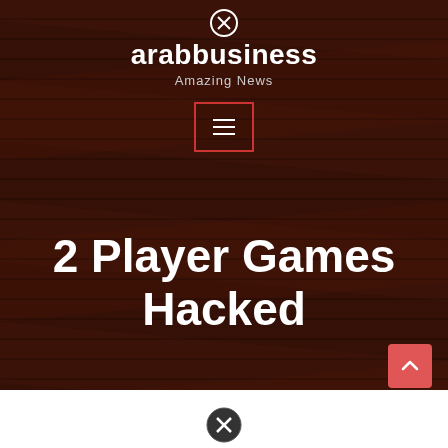[Figure (screenshot): Website header with wood texture background showing arabbusiness logo, 'Amazing News' tagline, hamburger menu button, and '2 Player Games Hacked' title. White section below with scroll-to-top button and close icon.]
arabbusiness
Amazing News
2 Player Games Hacked